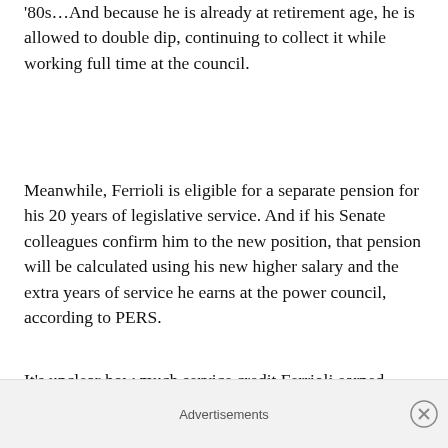'80s…And because he is already at retirement age, he is allowed to double dip, continuing to collect it while working full time at the council.
Meanwhile, Ferrioli is eligible for a separate pension for his 20 years of legislative service. And if his Senate colleagues confirm him to the new position, that pension will be calculated using his new higher salary and the extra years of service he earns at the power council, according to PERS.
It's unclear how much service credit Ferrioli earned
Advertisements